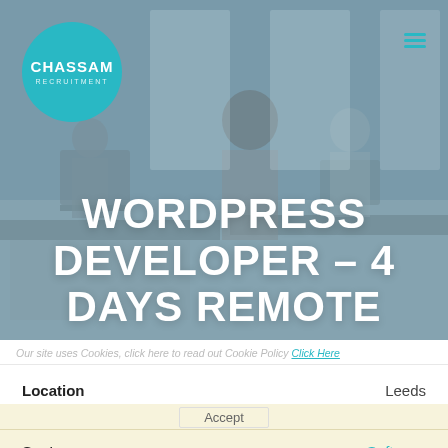[Figure (photo): Office background photo with workers at desks, overlaid with a blue-grey tint. Chassam Recruitment logo (teal circle) in top-left corner. Hamburger menu icon (teal) in top-right corner.]
WORDPRESS DEVELOPER – 4 DAYS REMOTE
Our site uses Cookies, click here to read out Cookie Policy Click Here
Accept
Location	Leeds
Sector:	Software